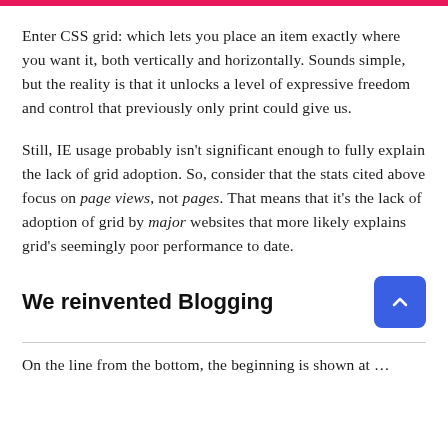Enter CSS grid: which lets you place an item exactly where you want it, both vertically and horizontally. Sounds simple, but the reality is that it unlocks a level of expressive freedom and control that previously only print could give us.
Still, IE usage probably isn't significant enough to fully explain the lack of grid adoption. So, consider that the stats cited above focus on page views, not pages. That means that it's the lack of adoption of grid by major websites that more likely explains grid's seemingly poor performance to date.
We reinvented Blogging
On the line from the bottom, the beginning is shown at...